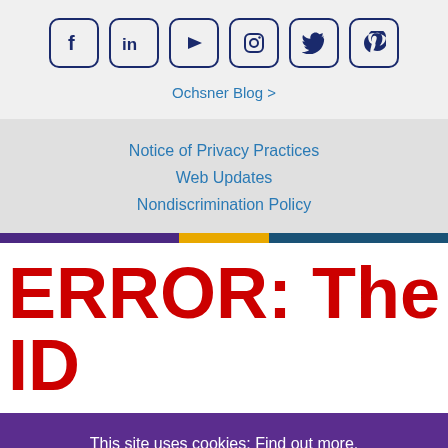[Figure (other): Row of six social media icons: Facebook, LinkedIn, YouTube, Instagram, Twitter, Pinterest — each in a rounded square border in dark navy]
Ochsner Blog >
Notice of Privacy Practices
Web Updates
Nondiscrimination Policy
ERROR: The ID
This site uses cookies: Find out more.
ACCEPT COOKIES